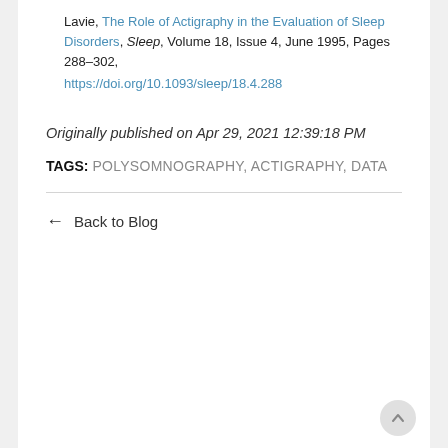Lavie, The Role of Actigraphy in the Evaluation of Sleep Disorders, Sleep, Volume 18, Issue 4, June 1995, Pages 288–302, https://doi.org/10.1093/sleep/18.4.288
Originally published on Apr 29, 2021 12:39:18 PM
TAGS: POLYSOMNOGRAPHY, ACTIGRAPHY, DATA
← Back to Blog